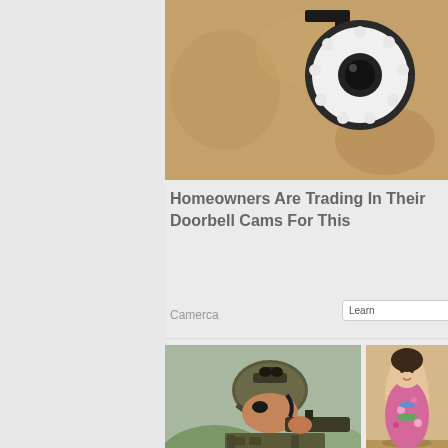[Figure (photo): Security camera mounted on a wall, close-up shot showing circular LED ring camera]
Homeowners Are Trading In Their Doorbell Cams For This
Camerca
[Figure (photo): Soldier in military gear and helmet aiming a weapon]
Congress Passes Billions for Camp Lejeune Families
[Figure (photo): Colorful decorative figurine on a wooden surface]
9 Reasons Shake H Compet